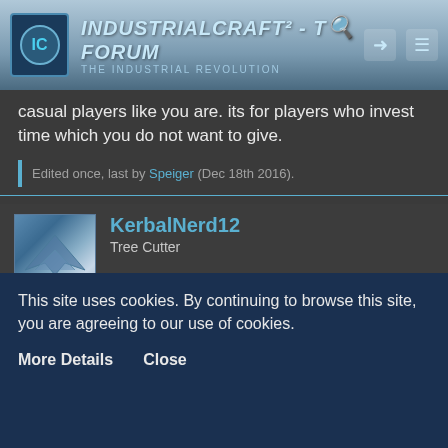IndustrialCraft² - The Forum — The Industrial Revolution
casual players like you are. its for players who invest time which you do not want to give.
Edited once, last by Speiger (Dec 18th 2016).
KerbalNerd12
Tree Cutter
Dec 19th 2016
Quote from Speiger
This site uses cookies. By continuing to browse this site, you are agreeing to our use of cookies.
More Details   Close